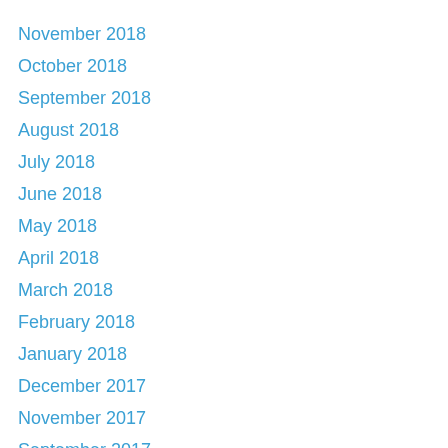November 2018
October 2018
September 2018
August 2018
July 2018
June 2018
May 2018
April 2018
March 2018
February 2018
January 2018
December 2017
November 2017
September 2017
August 2017
July 2017
June 2017
May 2017
April 2017
March 2017